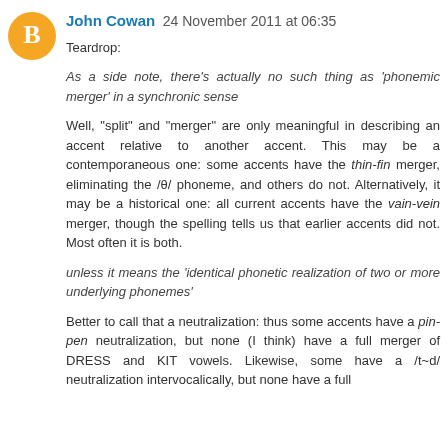John Cowan  24 November 2011 at 06:35
Teardrop:
As a side note, there's actually no such thing as 'phonemic merger' in a synchronic sense
Well, "split" and "merger" are only meaningful in describing an accent relative to another accent. This may be a contemporaneous one: some accents have the thin-fin merger, eliminating the /θ/ phoneme, and others do not. Alternatively, it may be a historical one: all current accents have the vain-vein merger, though the spelling tells us that earlier accents did not. Most often it is both.
unless it means the 'identical phonetic realization of two or more underlying phonemes'
Better to call that a neutralization: thus some accents have a pin-pen neutralization, but none (I think) have a full merger of DRESS and KIT vowels. Likewise, some have a /t~d/ neutralization intervocalically, but none have a full